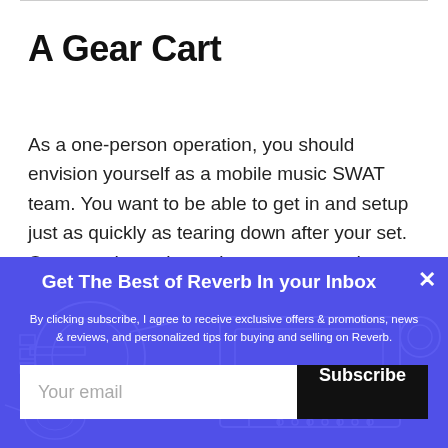A Gear Cart
As a one-person operation, you should envision yourself as a mobile music SWAT team. You want to be able to get in and setup just as quickly as tearing down after your set. Once you have the main gear you need, investing in a hand cart will do wonders to speed up your load-in times and reduce chronic back pain as you transport your amp and guitar all over town.
Get The Best of Reverb In your Inbox
By clicking subscribe, I agree to receive exclusive offers & promotions, news & reviews, and personalized tips for buying and selling on Reverb.